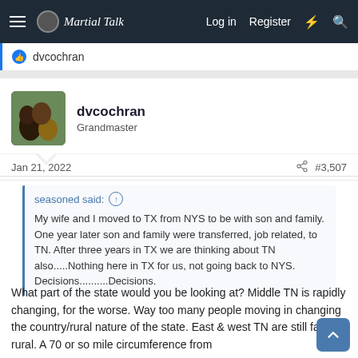Martial Talk — Log in | Register
dvcochran
dvcochran
Grandmaster
Jan 21, 2022   #3,507
seasoned said: ↑

My wife and I moved to TX from NYS to be with son and family. One year later son and family were transferred, job related, to TN. After three years in TX we are thinking about TN also.....Nothing here in TX for us, not going back to NYS. Decisions..........Decisions.
What part of the state would you be looking at? Middle TN is rapidly changing, for the worse. Way too many people moving in changing the country/rural nature of the state. East & west TN are still fairly rural. A 70 or so mile circumference from